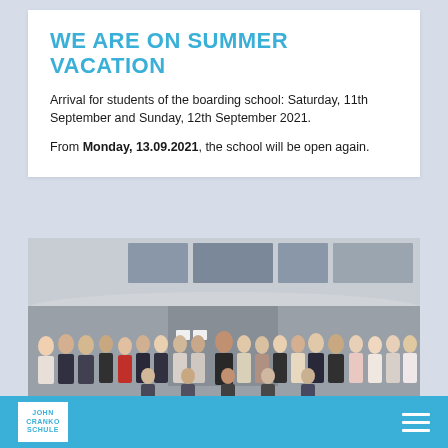WE ARE ON SUMMER VACATION
Arrival for students of the boarding school: Saturday, 11th September and Sunday, 12th September 2021.
From Monday, 13.09.2021, the school will be open again.
[Figure (photo): Group photo of students and teachers standing in front of a modern school building with curved architecture. Approximately 25–30 people arranged in two rows, some seated in front, others standing. Building facade features concrete and glass elements.]
JOHN CRANKO SCHULE